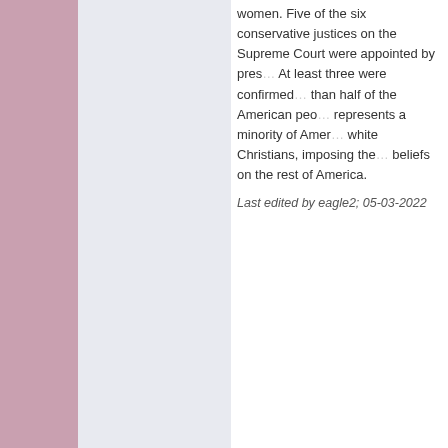women. Five of the six conservative justices on the Supreme Court were appointed by presidents who lost the popular vote. At least three were confirmed by senators representing fewer than half of the American people. A religious minority that represents a minority of Americans — mostly conservative white Christians, imposing their anti-women and anti-gay beliefs on the rest of America.
Last edited by eagle2; 05-03-2022
The Following 10 Users Say Thank You to eagle2 For Th
AChildOfBoredom,Djoser,Genoveve,kamiliam,laurielegs,LoveyD Starr,miss.a.p1600,RaeRae,trustfundkiller
05-03-2022, 10:09 PM
Djoser
Moderator
Re: SCOTUS Overturni
Originally Posted by
The real outrage is wi